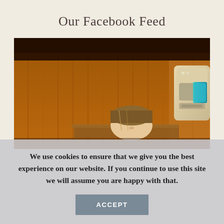Our Facebook Feed
[Figure (photo): Person relaxing in a wooden infrared sauna cabin with eyes closed, with a sauna heater device visible on the right wall.]
We use cookies to ensure that we give you the best experience on our website. If you continue to use this site we will assume you are happy with that.
ACCEPT